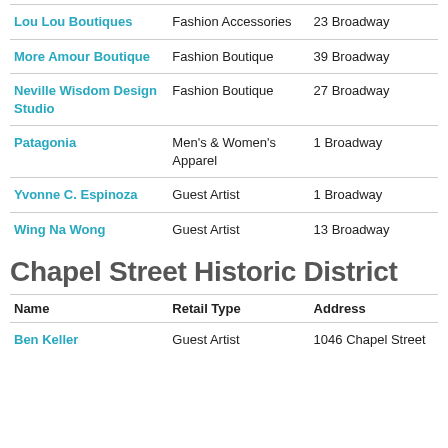| Name | Retail Type | Address |
| --- | --- | --- |
| Lou Lou Boutiques | Fashion Accessories | 23 Broadway |
| More Amour Boutique | Fashion Boutique | 39 Broadway |
| Neville Wisdom Design Studio | Fashion Boutique | 27 Broadway |
| Patagonia | Men's & Women's Apparel | 1 Broadway |
| Yvonne C. Espinoza | Guest Artist | 1 Broadway |
| Wing Na Wong | Guest Artist | 13 Broadway |
Chapel Street Historic District
| Name | Retail Type | Address |
| --- | --- | --- |
| Ben Keller | Guest Artist | 1046 Chapel Street |